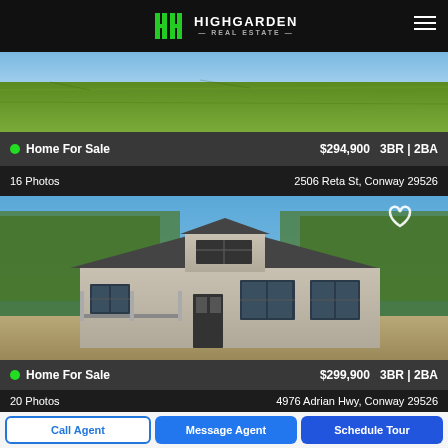HIGHGARDEN REAL ESTATE
[Figure (photo): Aerial or ground view showing grassy lawn/yard area for first listing]
● Home For Sale    $294,900   3BR | 2BA
16 Photos    2506 Reta St, Conway 29526
[Figure (photo): Front exterior photo of a new construction craftsman-style house with gray siding, dark shutters, double dormers, surrounded by trees and dirt yard]
● Home For Sale    $299,900   3BR | 2BA
20 Photos    4976 Adrian Hwy, Conway 29526
Call Agent   Message Agent   Schedule Tour
[Figure (photo): Partial view of third listing property]